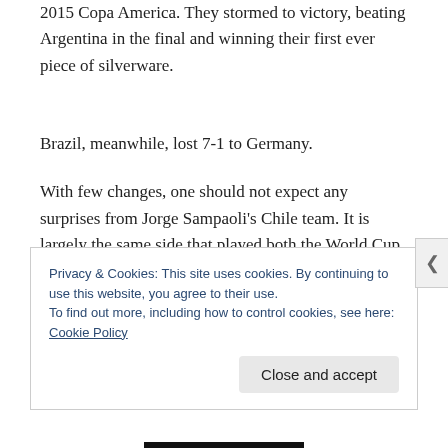2015 Copa America. They stormed to victory, beating Argentina in the final and winning their first ever piece of silverware.
Brazil, meanwhile, lost 7-1 to Germany.
With few changes, one should not expect any surprises from Jorge Sampaoli's Chile team. It is largely the same side that played both the World Cup and the
Privacy & Cookies: This site uses cookies. By continuing to use this website, you agree to their use.
To find out more, including how to control cookies, see here: Cookie Policy